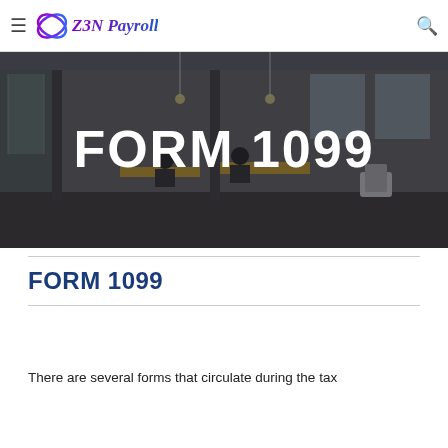Z3N Payroll
[Figure (photo): Office interior photo showing modern open workspace with people working at desks, glass partitions, and chairs, with FORM 1099 text overlaid in white]
FORM 1099
FORM 1099
There are several forms that circulate during the tax